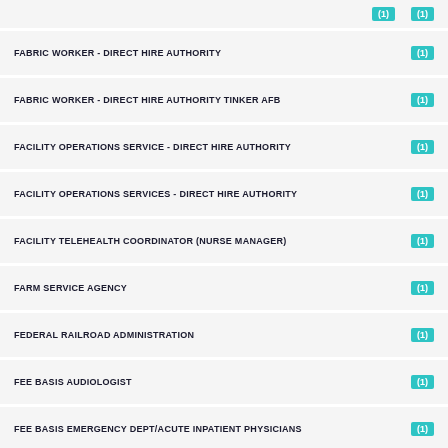FABRIC WORKER - DIRECT HIRE AUTHORITY (1)
FABRIC WORKER - DIRECT HIRE AUTHORITY TINKER AFB (1)
FACILITY OPERATIONS SERVICE - DIRECT HIRE AUTHORITY (1)
FACILITY OPERATIONS SERVICES - DIRECT HIRE AUTHORITY (1)
FACILITY TELEHEALTH COORDINATOR (NURSE MANAGER) (1)
FARM SERVICE AGENCY (1)
FEDERAL RAILROAD ADMINISTRATION (1)
FEE BASIS AUDIOLOGIST (1)
FEE BASIS EMERGENCY DEPT/ACUTE INPATIENT PHYSICIANS (1)
FINANCIAL ADMINISTRATION & PROGRAM - DIRECT HIRE AUTHORITY
FINANCIAL ADMINISTRATION - DIRECT HIRE AUTHORITY (1)
FINANCIAL ADMINISTRATION AND PROGRAM (1)
FINANCIAL ADMINISTRATION AND PROGRAM - DIRECT HIRE...